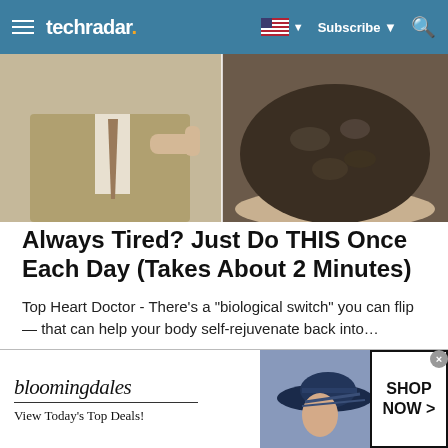techradar
[Figure (photo): Split image: man in beige suit on left side, bowl of ice on right side]
Always Tired? Just Do THIS Once Each Day (Takes About 2 Minutes)
Top Heart Doctor - There’s a “biological switch” you can flip — that can help your body self-rejuvenate back into…
Gundry MD | Sponsored
[Figure (photo): Partial view of second article image showing people]
[Figure (other): Bloomingdales advertisement banner: logo, View Today’s Top Deals!, woman with hat image, SHOP NOW > button]